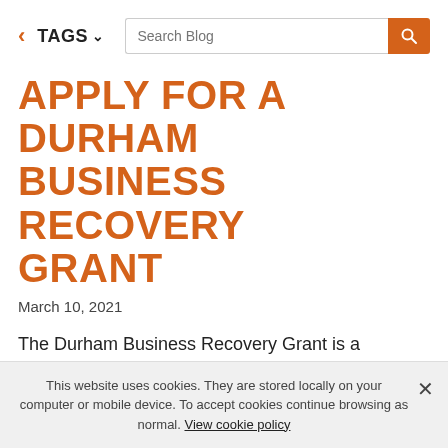< TAGS ∨  Search Blog
APPLY FOR A DURHAM BUSINESS RECOVERY GRANT
March 10, 2021
The Durham Business Recovery Grant is a £5million fund to help County Durham businesses to recover from the effects of Covid…
Who can apply for a Durham Business
This website uses cookies. They are stored locally on your computer or mobile device. To accept cookies continue browsing as normal. View cookie policy